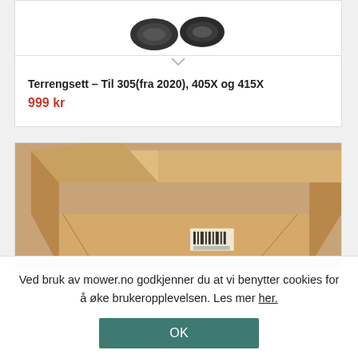[Figure (photo): Partial top view of a product (wheel set/terrain set parts in dark color), cropped at top]
Terrengsett – Til 305(fra 2020), 405X og 415X
999 kr
[Figure (photo): Open cardboard box photographed from above at an angle, showing interior with a barcode label on the bottom]
Ved bruk av mower.no godkjenner du at vi benytter cookies for å øke brukeropplevelsen. Les mer her.
OK